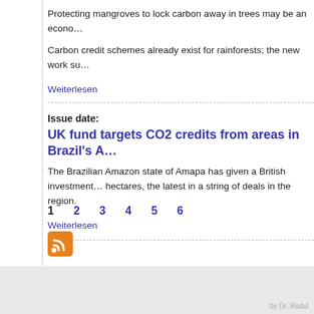Protecting mangroves to lock carbon away in trees may be an econo…
Carbon credit schemes already exist for rainforests; the new work su…
Weiterlesen
Issue date:
UK fund targets CO2 credits from areas in Brazil's A…
The Brazilian Amazon state of Amapa has given a British investment… hectares, the latest in a string of deals in the region.
Weiterlesen
1
2
3
4
5
6
[Figure (other): RSS feed icon - orange square with white RSS symbol]
by Dr. Radul